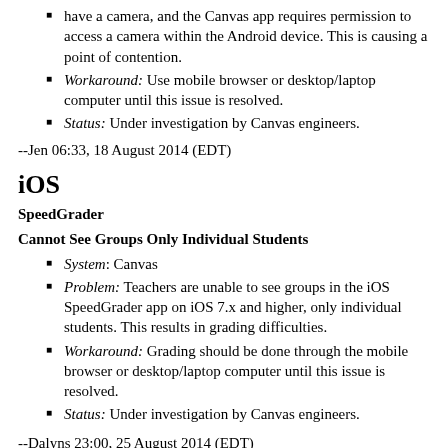have a camera, and the Canvas app requires permission to access a camera within the Android device. This is causing a point of contention.
Workaround: Use mobile browser or desktop/laptop computer until this issue is resolved.
Status: Under investigation by Canvas engineers.
--Jen 06:33, 18 August 2014 (EDT)
iOS
SpeedGrader
Cannot See Groups Only Individual Students
System: Canvas
Problem: Teachers are unable to see groups in the iOS SpeedGrader app on iOS 7.x and higher, only individual students. This results in grading difficulties.
Workaround: Grading should be done through the mobile browser or desktop/laptop computer until this issue is resolved.
Status: Under investigation by Canvas engineers.
--Dalyns 23:00, 25 August 2014 (EDT)